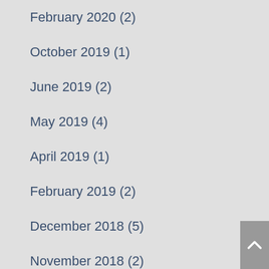February 2020 (2)
October 2019 (1)
June 2019 (2)
May 2019 (4)
April 2019 (1)
February 2019 (2)
December 2018 (5)
November 2018 (2)
October 2018 (3)
September 2018 (3)
August 2018 (7)
July 2018 (5)